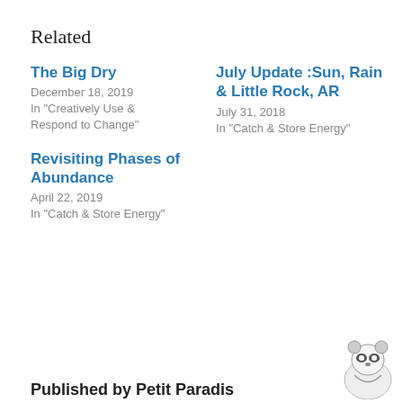Related
The Big Dry
December 18, 2019
In "Creatively Use & Respond to Change"
July Update :Sun, Rain & Little Rock, AR
July 31, 2018
In "Catch & Store Energy"
Revisiting Phases of Abundance
April 22, 2019
In "Catch & Store Energy"
Published by Petit Paradis